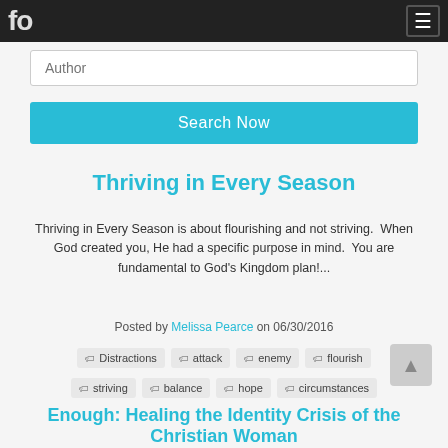fo ≡
Author
Search Now
Thriving in Every Season
Thriving in Every Season is about flourishing and not striving.  When God created you, He had a specific purpose in mind.  You are fundamental to God's Kingdom plan!...
Posted by Melissa Pearce on 06/30/2016
Distractions
attack
enemy
flourish
striving
balance
hope
circumstances
Enough: Healing the Identity Crisis of the Christian Woman